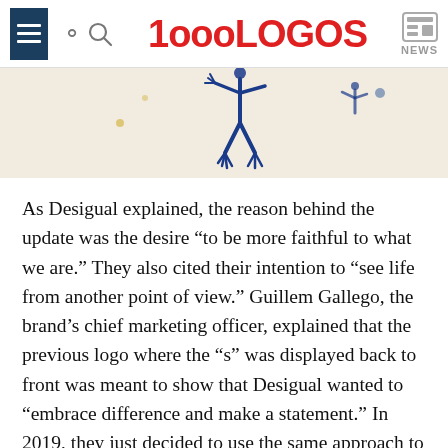1000LOGOS NEWS
[Figure (illustration): Partial view of a Desigual-style illustrated figure with blue brushstroke human-like figure on light background, cropped at top]
As Desigual explained, the reason behind the update was the desire “to be more faithful to what we are.” They also cited their intention to “see life from another point of view.” Guillem Gallego, the brand’s chief marketing officer, explained that the previous logo where the “s” was displayed back to front was meant to show that Desigual wanted to “embrace difference and make a statement.” In 2019, they just decided to use the same approach to all the letters in the Desigual logo.